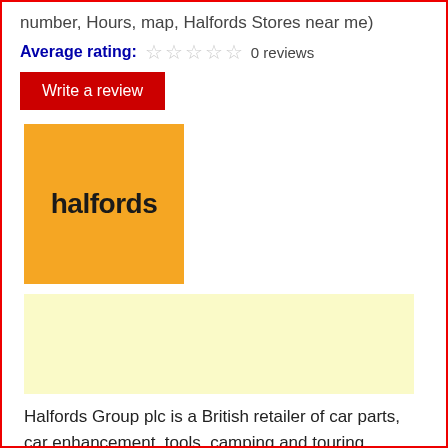number, Hours, map, Halfords Stores near me)
Average rating: 0 reviews
Write a review
[Figure (logo): Halfords logo: orange square background with 'halfords' in bold dark text]
[Figure (other): Advertisement placeholder — light yellow/cream rectangle]
Halfords Group plc is a British retailer of car parts, car enhancement, tools, camping and touring equipment and bicycles operating in the United Kingdom and Ireland. They also provide MOT, service and repairs in the United Kingdom, through Halfords Autocentre